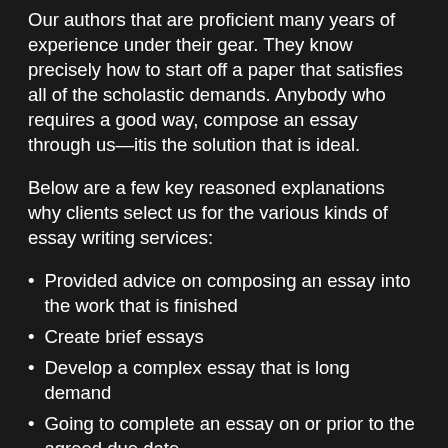Our authors that are proficient many years of experience under their gear. They know precisely how to start off a paper that satisfies all of the scholastic demands. Anybody who requires a good way, compose an essay through us—itis the solution that is ideal.
Below are a few key reasoned explanations why clients select us for the various kinds of essay writing services:
Provided advice on composing an essay into the work that is finished
Create brief essays
Develop a complex essay that is long demand
Going to complete an essay on or prior to the agreed due date
Give essay examples to simply help customers make informed decisions before committing
Experience about how to compose an university essay